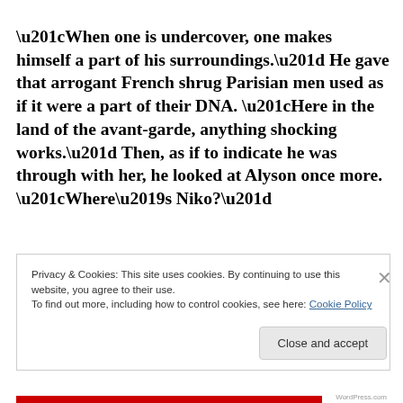“When one is undercover, one makes himself a part of his surroundings.” He gave that arrogant French shrug Parisian men used as if it were a part of their DNA. “Here in the land of the avant-garde, anything shocking works.” Then, as if to indicate he was through with her, he looked at Alyson once more. “Where’s Niko?”
Privacy & Cookies: This site uses cookies. By continuing to use this website, you agree to their use.
To find out more, including how to control cookies, see here: Cookie Policy